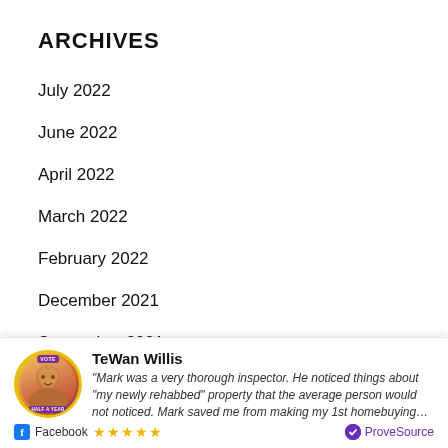ARCHIVES
July 2022
June 2022
April 2022
March 2022
February 2022
December 2021
September 2021
TeWan Willis
"Mark was a very thorough inspector. He noticed things about "my newly rehabbed" property that the average person would not noticed. Mark saved me from making my 1st homebuying..."
Facebook ★★★★★ ProveSource